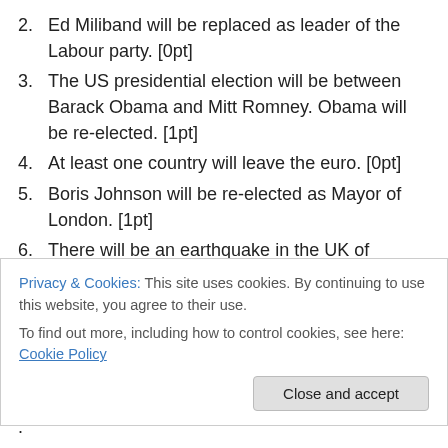2. Ed Miliband will be replaced as leader of the Labour party. [0pt]
3. The US presidential election will be between Barack Obama and Mitt Romney. Obama will be re-elected. [1pt]
4. At least one country will leave the euro. [0pt]
5. Boris Johnson will be re-elected as Mayor of London. [1pt]
6. There will be an earthquake in the UK of magnitude 4.0 or above on the Richter scale. (I'm only using this scale as it's the one used on the Wikipedia page for UK
Privacy & Cookies: This site uses cookies. By continuing to use this website, you agree to their use. To find out more, including how to control cookies, see here: Cookie Policy